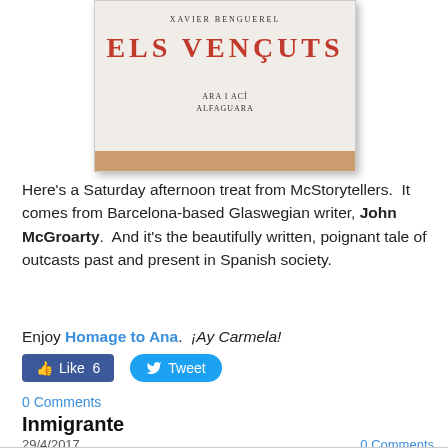[Figure (photo): Photo of a book cover titled 'ELS VENÇUTS' by Xavier Benguerel, published by Ara i Ací / Alfaguara, placed on a wooden surface]
Here's a Saturday afternoon treat from McStorytellers.  It comes from Barcelona-based Glaswegian writer, John McGroarty.  And it's the beautifully written, poignant tale of outcasts past and present in Spanish society.
Enjoy Homage to Ana.  ¡Ay Carmela!
[Figure (screenshot): Social media buttons: Like 6 (Facebook) and Tweet (Twitter)]
0 Comments
Inmigrante
29/4/2017
0 Comments